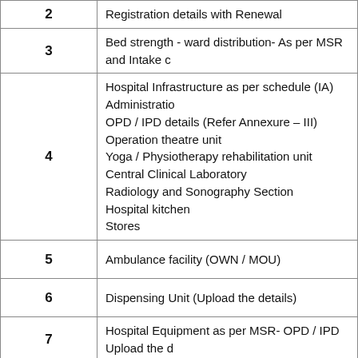| # | Description |
| --- | --- |
| 2 | Registration details with Renewal... |
| 3 | Bed strength - ward distribution- As per MSR and Intake c... |
| 4 | Hospital Infrastructure as per schedule (IA) Administration...
OPD / IPD details (Refer Annexure – III)
Operation theatre unit
Yoga / Physiotherapy rehabilitation unit
Central Clinical Laboratory
Radiology and Sonography Section
Hospital kitchen
Stores |
| 5 | Ambulance facility (OWN / MOU) |
| 6 | Dispensing Unit (Upload the details) |
| 7 | Hospital Equipment as per MSR- OPD / IPD Upload the d... |
| 8 | MOU with super specialty Hospital for clinical training of s... |
| 9 | First Aid kit in OPD / IPD |
| 10 | BMW Certificate |